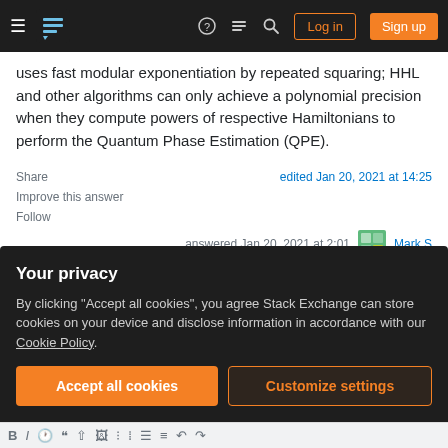Stack Exchange navigation bar with Log in and Sign up buttons
uses fast modular exponentiation by repeated squaring; HHL and other algorithms can only achieve a polynomial precision when they compute powers of respective Hamiltonians to perform the Quantum Phase Estimation (QPE).
Share | edited Jan 20, 2021 at 14:25
Improve this answer
Follow
answered Jan 20, 2021 at 2:01
Mark S
Your privacy
By clicking "Accept all cookies", you agree Stack Exchange can store cookies on your device and disclose information in accordance with our Cookie Policy.
Accept all cookies   Customize settings